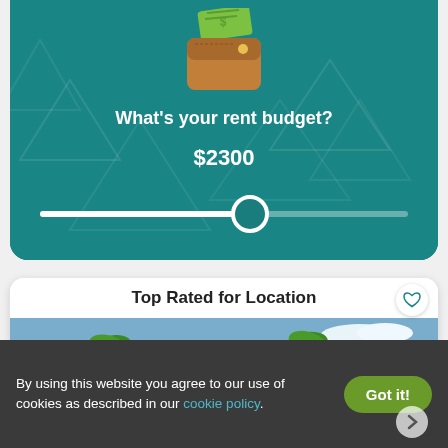[Figure (screenshot): Teal card with wallet icon showing cash, rent budget slider UI]
What's your rent budget?
$2300
[Figure (screenshot): Property listing card titled Top Rated for Location showing photo of green apartment buildings with palm trees]
By using this website you agree to our use of cookies as described in our cookie policy.